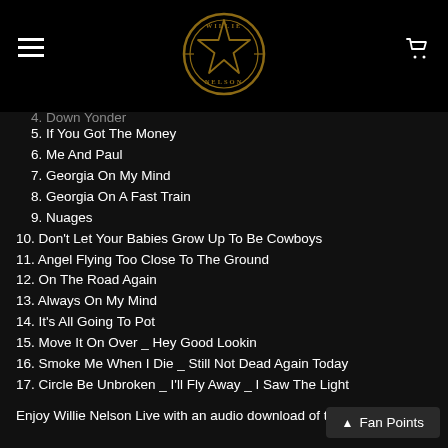[Figure (logo): Willie Nelson circular star logo in gold/bronze color on black background]
4. Down Yonder (partial, cut off)
5. If You Got The Money
6. Me And Paul
7. Georgia On My Mind
8. Georgia On A Fast Train
9. Nuages
10. Don't Let Your Babies Grow Up To Be Cowboys
11. Angel Flying Too Close To The Ground
12. On The Road Again
13. Always On My Mind
14. It's All Going To Pot
15. Move It On Over _ Hey Good Lookin
16. Smoke Me When I Die _ Still Not Dead Again Today
17. Circle Be Unbroken _ I'll Fly Away _ I Saw The Light
Enjoy Willie Nelson Live with an audio download of this performance!